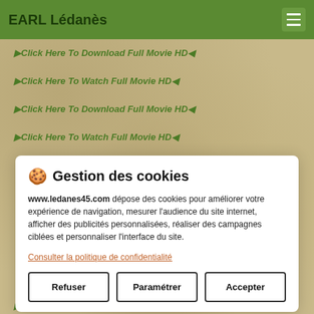EARL Lédanès
▶Click Here To Download Full Movie HD◀
▶Click Here To Watch Full Movie HD◀
▶Click Here To Download Full Movie HD◀
▶Click Here To Watch Full Movie HD◀
🍪 Gestion des cookies
www.ledanes45.com dépose des cookies pour améliorer votre expérience de navigation, mesurer l'audience du site internet, afficher des publicités personnalisées, réaliser des campagnes ciblées et personnaliser l'interface du site.
Consulter la politique de confidentialité
Refuser | Paramétrer | Accepter
▶Click Here To Download Full Movie HD◀